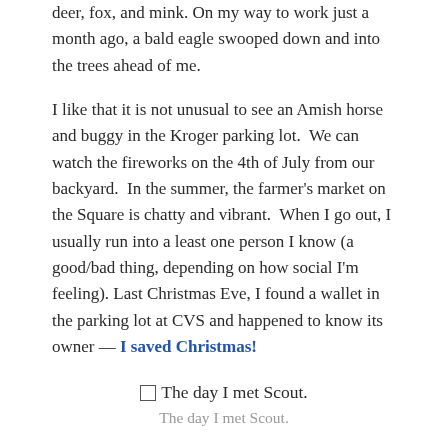deer, fox, and mink. On my way to work just a month ago, a bald eagle swooped down and into the trees ahead of me.
I like that it is not unusual to see an Amish horse and buggy in the Kroger parking lot. We can watch the fireworks on the 4th of July from our backyard. In the summer, the farmer's market on the Square is chatty and vibrant. When I go out, I usually run into a least one person I know (a good/bad thing, depending on how social I'm feeling). Last Christmas Eve, I found a wallet in the parking lot at CVS and happened to know its owner — I saved Christmas!
☐ The day I met Scout.
The day I met Scout.
Then there is Scout, a kitten I found on Compromise Street, near the trashy park in a no-man's land of weedy yards and crumbling roads. I was headed to the river to see the effects